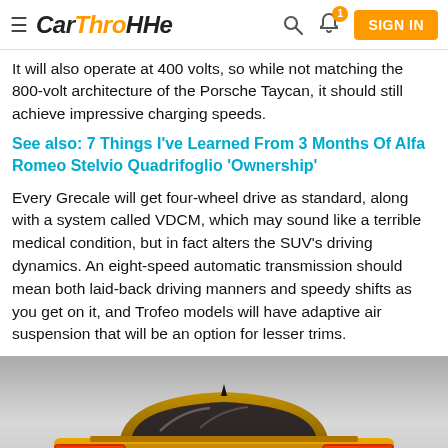CarThroHHe — SIGN IN
It will also operate at 400 volts, so while not matching the 800-volt architecture of the Porsche Taycan, it should still achieve impressive charging speeds.
See also: 7 Things I've Learned From 3 Months Of Alfa Romeo Stelvio Quadrifoglio 'Ownership'
Every Grecale will get four-wheel drive as standard, along with a system called VDCM, which may sound like a terrible medical condition, but in fact alters the SUV's driving dynamics. An eight-speed automatic transmission should mean both laid-back driving manners and speedy shifts as you get on it, and Trofeo models will have adaptive air suspension that will be an option for lesser trims.
[Figure (photo): Rear view of a gold/yellow Maserati Grecale SUV against a light grey gradient background, showing the back of the car with Maserati badging and Grecale nameplate on the rear.]